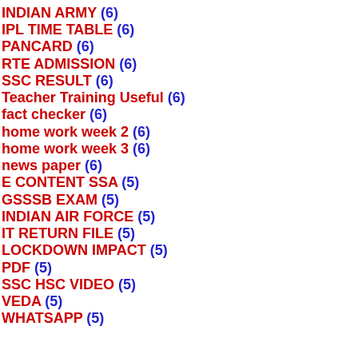INDIAN ARMY (6)
IPL TIME TABLE (6)
PANCARD (6)
RTE ADMISSION (6)
SSC RESULT (6)
Teacher Training Useful (6)
fact checker (6)
home work week 2 (6)
home work week 3 (6)
news paper (6)
E CONTENT SSA (5)
GSSSB EXAM (5)
INDIAN AIR FORCE (5)
IT RETURN FILE (5)
LOCKDOWN IMPACT (5)
PDF (5)
SSC HSC VIDEO (5)
VEDA (5)
WHATSAPP (5)